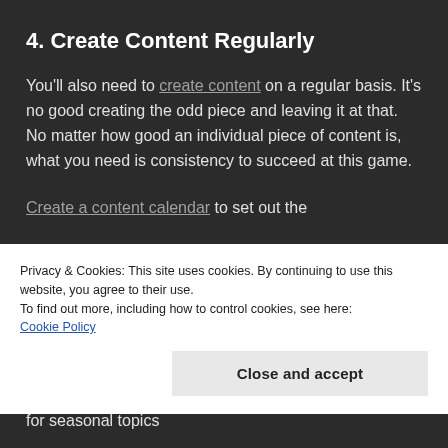4. Create Content Regularly
You'll also need to create content on a regular basis. It's no good creating the odd piece and leaving it at that. No matter how good an individual piece of content is, what you need is consistency to succeed at this game.
Create a content calendar to set out the
Privacy & Cookies: This site uses cookies. By continuing to use this website, you agree to their use.
To find out more, including how to control cookies, see here:
Cookie Policy
Close and accept
for seasonal topics